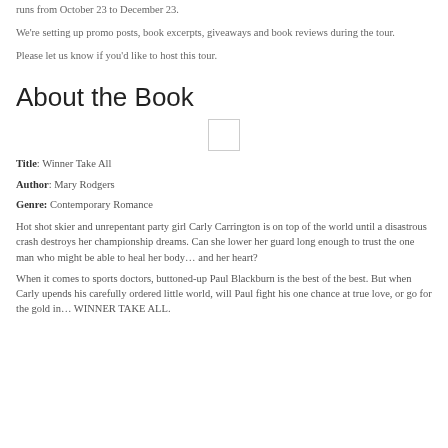runs from October 23 to December 23.
We're setting up promo posts, book excerpts, giveaways and book reviews during the tour.
Please let us know if you'd like to host this tour.
About the Book
[Figure (other): Small book cover image placeholder (empty rectangle)]
Title: Winner Take All
Author: Mary Rodgers
Genre: Contemporary Romance
Hot shot skier and unrepentant party girl Carly Carrington is on top of the world until a disastrous crash destroys her championship dreams. Can she lower her guard long enough to trust the one man who might be able to heal her body… and her heart?
When it comes to sports doctors, buttoned-up Paul Blackburn is the best of the best. But when Carly upends his carefully ordered little world, will Paul fight his one chance at true love, or go for the gold in… WINNER TAKE ALL.